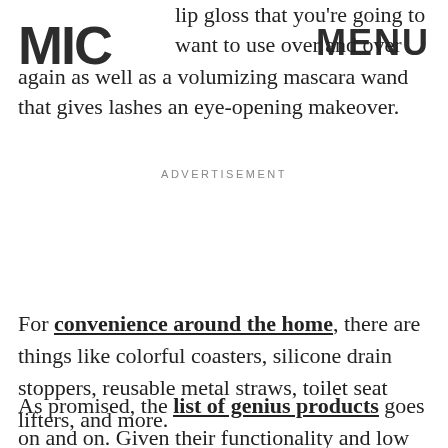MIC | MENU
lip gloss that you're going to want to use over and over again as well as a volumizing mascara wand that gives lashes an eye-opening makeover.
ADVERTISEMENT
For convenience around the home, there are things like colorful coasters, silicone drain stoppers, reusable metal straws, toilet seat lifters, and more.
As promised, the list of genius products goes on and on. Given their functionality and low price point, you're